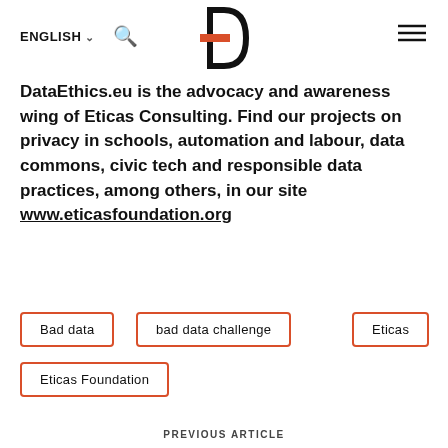ENGLISH  🔍  [DataEthics logo]  ≡
DataEthics.eu is the advocacy and awareness wing of Eticas Consulting. Find our projects on privacy in schools, automation and labour, data commons, civic tech and responsible data practices, among others, in our site www.eticasfoundation.org
Bad data
bad data challenge
Eticas
Eticas Foundation
PREVIOUS ARTICLE